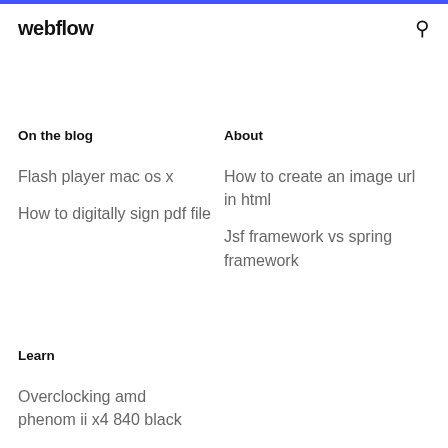webflow
On the blog
About
Flash player mac os x
How to create an image url in html
How to digitally sign pdf file
Jsf framework vs spring framework
Learn
Overclocking amd phenom ii x4 840 black